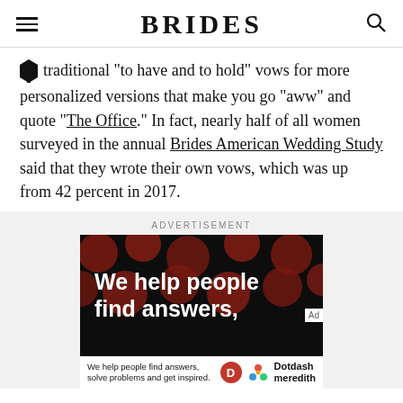BRIDES
traditional "to have and to hold" vows for more personalized versions that make you go "aww" and quote “The Office.” In fact, nearly half of all women surveyed in the annual Brides American Wedding Study said that they wrote their own vows, which was up from 42 percent in 2017.
ADVERTISEMENT
[Figure (screenshot): Advertisement banner with dark background showing red circular bokeh dots and white bold text reading 'We help people find answers,' with Dotdash Meredith branding at bottom.]